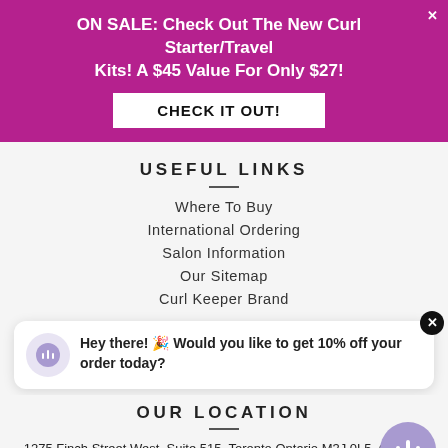ON SALE: Check Out The New Curl Starter/Travel Kits! A $45 Value For Only $27!
CHECK IT OUT!
USEFUL LINKS
Where To Buy
International Ordering
Salon Information
Our Sitemap
Curl Keeper Brand
Hey there! 🎉 Would you like to get 10% off your order today?
OUR LOCATION
1275 Finch Street West, Suite 515. Toronto Ontario M3J 0L5, Canada
Office Toll Free: 1-800-792-9071